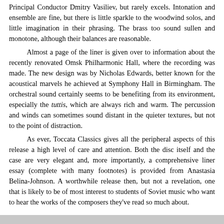Principal Conductor Dmitry Vasiliev, but rarely excels. Intonation and ensemble are fine, but there is little sparkle to the woodwind solos, and little imagination in their phrasing. The brass too sound sullen and monotone, although their balances are reasonable.

Almost a page of the liner is given over to information about the recently renovated Omsk Philharmonic Hall, where the recording was made. The new design was by Nicholas Edwards, better known for the acoustical marvels he achieved at Symphony Hall in Birmingham. The orchestral sound certainly seems to be benefiting from its environment, especially the tuttis, which are always rich and warm. The percussion and winds can sometimes sound distant in the quieter textures, but not to the point of distraction.

As ever, Toccata Classics gives all the peripheral aspects of this release a high level of care and attention. Both the disc itself and the case are very elegant and, more importantly, a comprehensive liner essay (complete with many footnotes) is provided from Anastasia Belina-Johnson. A worthwhile release then, but not a revelation, one that is likely to be of most interest to students of Soviet music who want to hear the works of the composers they've read so much about.
This review appears in Fanfare Magazine, issue 37:1.